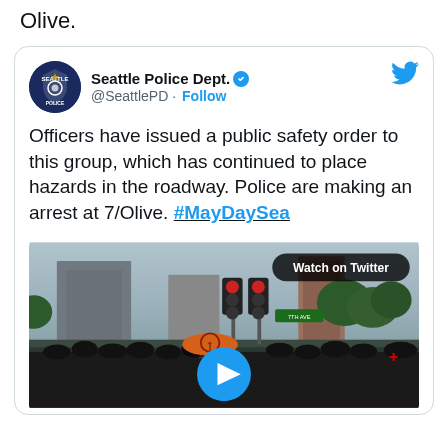Olive.
[Figure (screenshot): Embedded tweet from Seattle Police Dept. (@SeattlePD) with verified badge and Follow button. Tweet text: 'Officers have issued a public safety order to this group, which has continued to place hazards in the roadway. Police are making an arrest at 7/Olive. #MayDaySea'. Below the text is a video thumbnail showing a street protest scene with people dressed in black, a red traffic light, an orange umbrella, green trees, and city buildings in the background. A 'Watch on Twitter' button appears in the top-right of the video thumbnail, and a blue circular play button appears in the center-bottom of the thumbnail.]